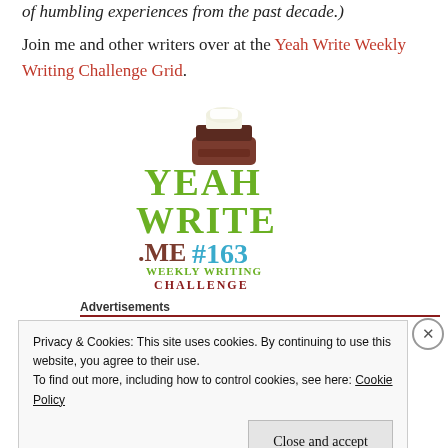of humbling experiences from the past decade.)
Join me and other writers over at the Yeah Write Weekly Writing Challenge Grid.
[Figure (logo): Yeah Write #163 Weekly Writing Challenge logo with stylized green and dark red text, blue .ME#163, and a typewriter graphic on top]
Advertisements
Privacy & Cookies: This site uses cookies. By continuing to use this website, you agree to their use.
To find out more, including how to control cookies, see here: Cookie Policy
Close and accept